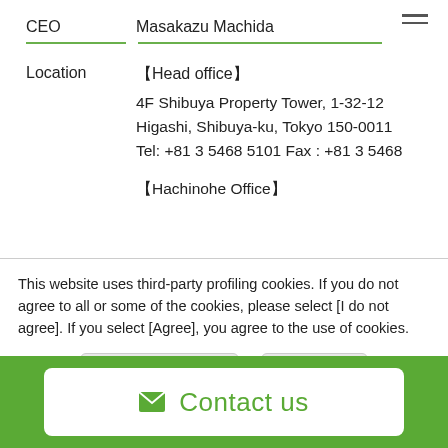CEO    Masakazu Machida
Location  【Head office】
4F Shibuya Property Tower, 1-32-12
Higashi, Shibuya-ku, Tokyo 150-0011
Tel: +81 3 5468 5101 Fax : +81 3 5468

【Hachinohe Office】
This website uses third-party profiling cookies. If you do not agree to all or some of the cookies, please select [I do not agree]. If you select [Agree], you agree to the use of cookies.
[I do not agree]
[Agree]
✉ Contact us